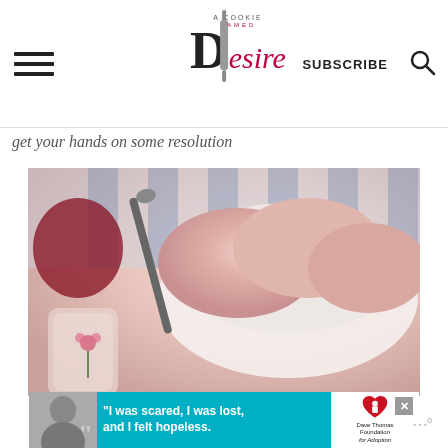A Cookie Named Desire — SUBSCRIBE [search icon]
get your hands on some resolution
[Figure (photo): Close-up photo of pink/rose ice cream scoops in a white bowl with a decorative silver spoon, blue and white striped cloth in background, glass with a flower in foreground]
[Figure (photo): Advertisement banner: black and white photo of woman with quote marks, cyan/teal background with text 'I was scared, I was lost, and I felt hopeless.' Dave Thomas Foundation for Adoption logo]